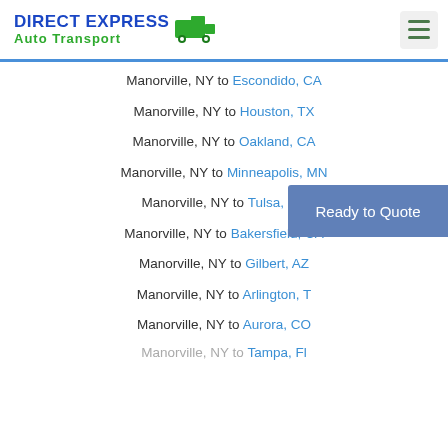DIRECT EXPRESS Auto Transport
Manorville, NY to Escondido, CA
Manorville, NY to Houston, TX
Manorville, NY to Oakland, CA
Manorville, NY to Minneapolis, MN
Manorville, NY to Tulsa, CA
Manorville, NY to Bakersfield, CA
Manorville, NY to Gilbert, AZ
Manorville, NY to Arlington, TX
Manorville, NY to Aurora, CO
Manorville, NY to Tampa, FL